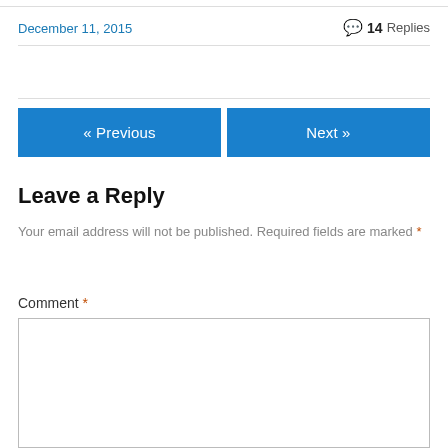December 11, 2015
14 Replies
« Previous
Next »
Leave a Reply
Your email address will not be published. Required fields are marked *
Comment *